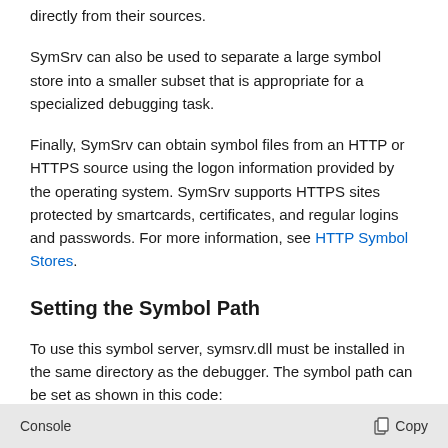directly from their sources.
SymSrv can also be used to separate a large symbol store into a smaller subset that is appropriate for a specialized debugging task.
Finally, SymSrv can obtain symbol files from an HTTP or HTTPS source using the logon information provided by the operating system. SymSrv supports HTTPS sites protected by smartcards, certificates, and regular logins and passwords. For more information, see HTTP Symbol Stores.
Setting the Symbol Path
To use this symbol server, symsrv.dll must be installed in the same directory as the debugger. The symbol path can be set as shown in this code:
Console  Copy